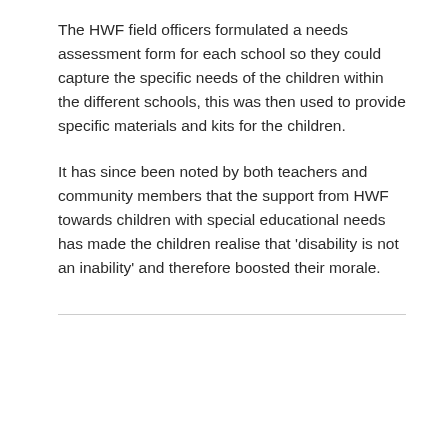The HWF field officers formulated a needs assessment form for each school so they could capture the specific needs of the children within the different schools, this was then used to provide specific materials and kits for the children.
It has since been noted by both teachers and community members that the support from HWF towards children with special educational needs has made the children realise that 'disability is not an inability' and therefore boosted their morale.